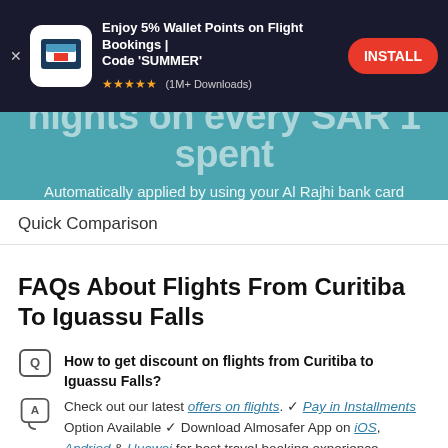[Figure (screenshot): App advertisement banner for a flight booking app with dark background, app icon, promotional text about 5% Wallet Points, star rating, and INSTALL button]
nights on every SAR 1 spent
Automatically applied by using your Al Rajhi bank card
Quick Comparison
FAQs About Flights From Curitiba To Iguassu Falls
How to get discount on flights from Curitiba to Iguassu Falls?
Check out our latest offers on flights. ✓ Pay in Installments Option Available ✓ Download Almosafer App on iOS, Andriod & Huawei for best travel booking experience.
What are the latest travel updates for Iguassu Falls?